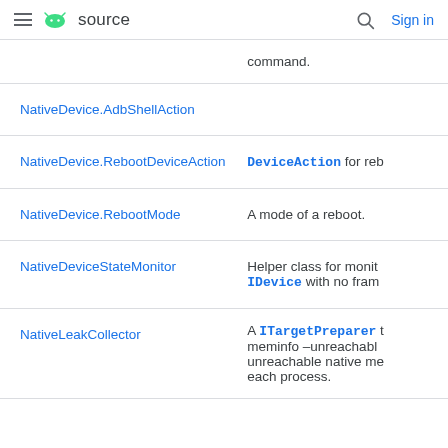≡  [android] source    🔍  Sign in
| Class | Description |
| --- | --- |
|  | command. |
| NativeDevice.AdbShellAction |  |
| NativeDevice.RebootDeviceAction | DeviceAction for reb… |
| NativeDevice.RebootMode | A mode of a reboot. |
| NativeDeviceStateMonitor | Helper class for monit… IDevice with no fram… |
| NativeLeakCollector | A ITargetPreparer t… meminfo –unreachabl… unreachable native me… each process. |